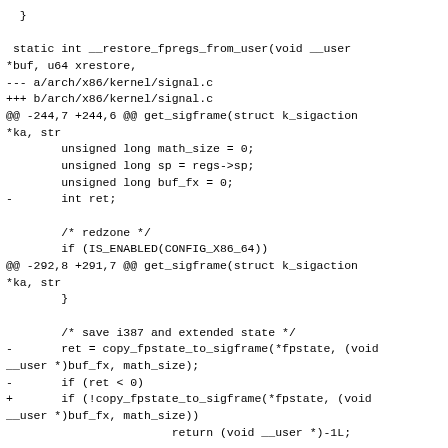}

 static int __restore_fpregs_from_user(void __user
*buf, u64 xrestore,
--- a/arch/x86/kernel/signal.c
+++ b/arch/x86/kernel/signal.c
@@ -244,7 +244,6 @@ get_sigframe(struct k_sigaction
*ka, str
        unsigned long math_size = 0;
        unsigned long sp = regs->sp;
        unsigned long buf_fx = 0;
-       int ret;

        /* redzone */
        if (IS_ENABLED(CONFIG_X86_64))
@@ -292,8 +291,7 @@ get_sigframe(struct k_sigaction
*ka, str
        }

        /* save i387 and extended state */
-       ret = copy_fpstate_to_sigframe(*fpstate, (void
__user *)buf_fx, math_size);
-       if (ret < 0)
+       if (!copy_fpstate_to_sigframe(*fpstate, (void
__user *)buf_fx, math_size))
                        return (void __user *)-1L;

        return (void __user *)sp;